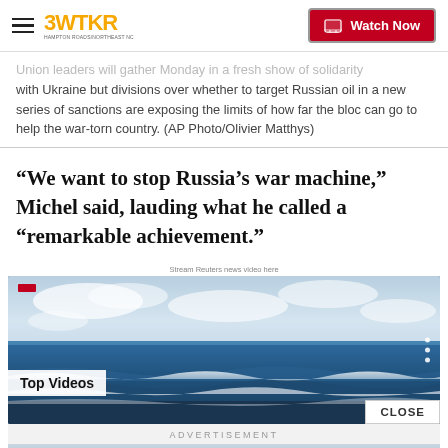3WTKR | Watch Now
Union leaders will gather Monday in a fresh show of solidarity with Ukraine but divisions over whether to target Russian oil in a new series of sanctions are exposing the limits of how far the bloc can go to help the war-torn country. (AP Photo/Olivier Matthys)
“We want to stop Russia’s war machine,” Michel said, lauding what he called a “remarkable achievement.”
Stream Reuters news video here
[Figure (screenshot): Top Videos video player widget showing beach/ocean scene with waves and sky, with a red bar at top left, three white dots on the right, Top Videos label at bottom left, and CLOSE button at bottom right]
ADVERTISEMENT